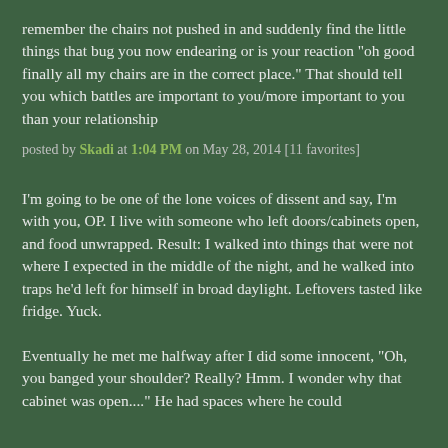remember the chairs not pushed in and suddenly find the little things that bug you now endearing or is your reaction "oh good finally all my chairs are in the correct place." That should tell you which battles are important to you/more important to you than your relationship
posted by Skadi at 1:04 PM on May 28, 2014 [11 favorites]
I'm going to be one of the lone voices of dissent and say, I'm with you, OP. I live with someone who left doors/cabinets open, and food unwrapped. Result: I walked into things that were not where I expected in the middle of the night, and he walked into traps he'd left for himself in broad daylight. Leftovers tasted like fridge. Yuck.
Eventually he met me halfway after I did some innocent, "Oh, you banged your shoulder? Really? Hmm. I wonder why that cabinet was open...." He had spaces where he could